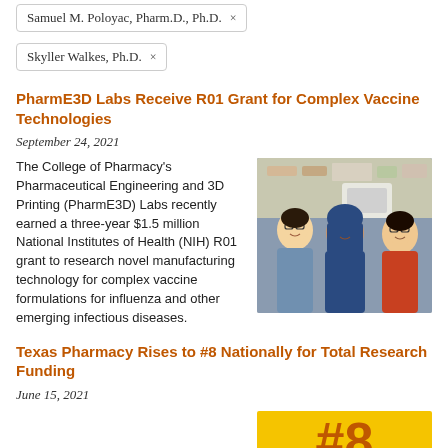Samuel M. Poloyac, Pharm.D., Ph.D. ×
Skyller Walkes, Ph.D. ×
PharmE3D Labs Receive R01 Grant for Complex Vaccine Technologies
September 24, 2021
[Figure (photo): Three researchers posing together in a laboratory setting]
The College of Pharmacy's Pharmaceutical Engineering and 3D Printing (PharmE3D) Labs recently earned a three-year $1.5 million National Institutes of Health (NIH) R01 grant to research novel manufacturing technology for complex vaccine formulations for influenza and other emerging infectious diseases.
Texas Pharmacy Rises to #8 Nationally for Total Research Funding
June 15, 2021
[Figure (infographic): Yellow badge with #8 in orange text indicating national ranking for total research funding]